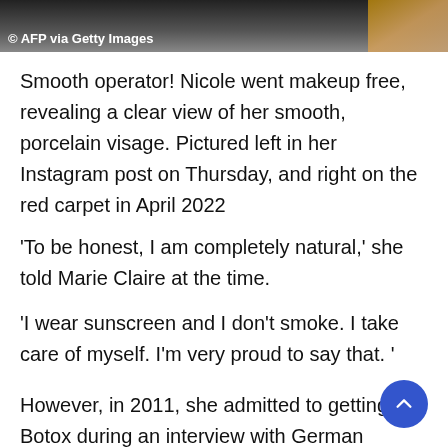[Figure (photo): Photo header with AFP via Getty Images watermark/caption overlay, dark background with warm-toned image on the right]
© AFP via Getty Images
Smooth operator! Nicole went makeup free, revealing a clear view of her smooth, porcelain visage. Pictured left in her Instagram post on Thursday, and right on the red carpet in April 2022
‘To be honest, I am completely natural,’ she told Marie Claire at the time.
‘I wear sunscreen and I don’t smoke. I take care of myself. I’m very proud to say that. ’
However, in 2011, she admitted to getting Botox during an interview with German magazine, TV Movie.